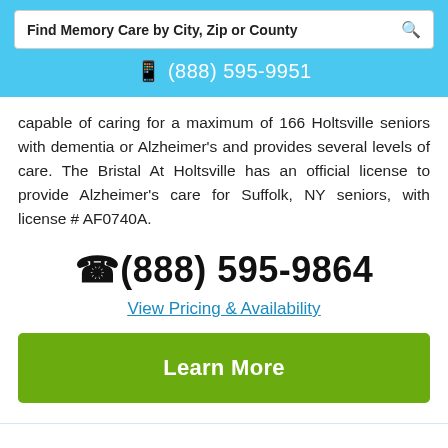[Figure (screenshot): Search bar with text 'Find Memory Care by City, Zip or County' and a magnifying glass icon]
📱 (888) 595-9951
capable of caring for a maximum of 166 Holtsville seniors with dementia or Alzheimer's and provides several levels of care. The Bristal At Holtsville has an official license to provide Alzheimer's care for Suffolk, NY seniors, with license # AF0740A.
( (888) 595-9864
View Pricing & Availability
Learn More